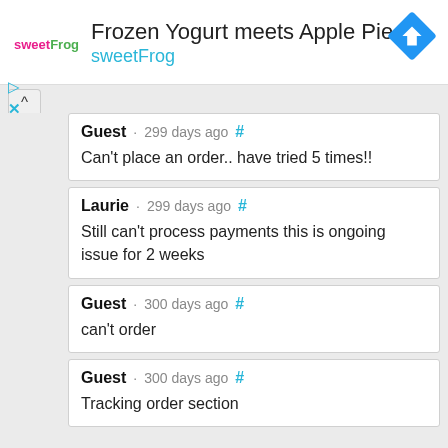[Figure (screenshot): sweetFrog logo with pink 'sweet' and green 'Frog' text]
Frozen Yogurt meets Apple Pie
sweetFrog
[Figure (logo): Blue diamond navigation/directions icon with white arrow]
Guest · 299 days ago # Can't place an order.. have tried 5 times!!
Laurie · 299 days ago # Still can't process payments this is ongoing issue for 2 weeks
Guest · 300 days ago # can't order
Guest · 300 days ago # Tracking order section